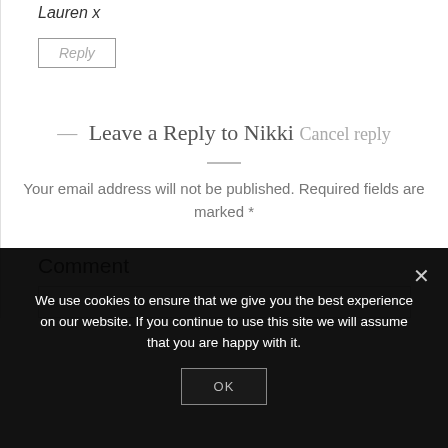Lauren x
Reply
— Leave a Reply to Nikki Cancel reply
Your email address will not be published. Required fields are marked *
Comment
We use cookies to ensure that we give you the best experience on our website. If you continue to use this site we will assume that you are happy with it.
OK